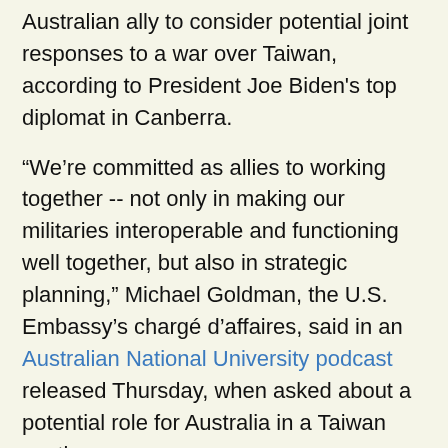Australian ally to consider potential joint responses to a war over Taiwan, according to President Joe Biden's top diplomat in Canberra.
“We’re committed as allies to working together -- not only in making our militaries interoperable and functioning well together, but also in strategic planning,” Michael Goldman, the U.S. Embassy’s chargé d’affaires, said in an Australian National University podcast released Thursday, when asked about a potential role for Australia in a Taiwan contingency.
“And when you look at strategic planning, it covers the range of contingencies that you’ve mentioned, of which Taiwan is obviously an important component,” Goldman added.